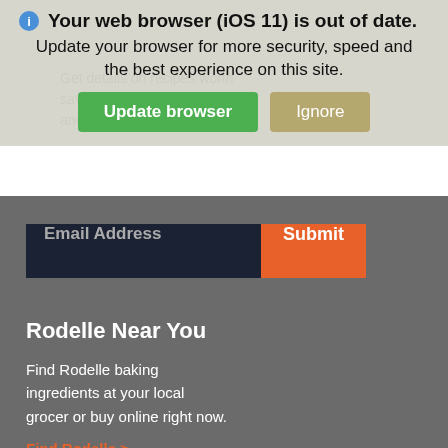[Figure (screenshot): Browser update notification banner overlay with iOS 11 out of date warning, Update browser (green) and Ignore (tan) buttons]
Get details on recipes worth saving, product promotions, and upcoming...
Email Address
Submit
Rodelle Near You
Find Rodelle baking ingredients at your local grocer or buy online right now.
Find Rodelle >
Navigation
Privacy Policy